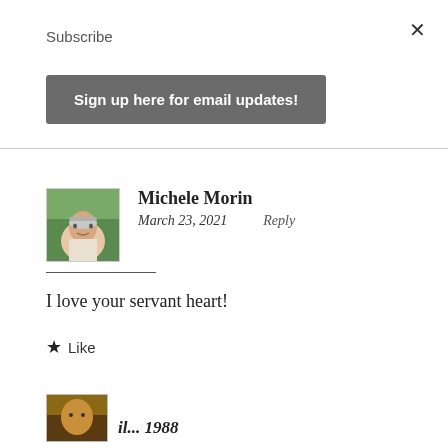×
Subscribe
Sign up here for email updates!
[Figure (photo): Avatar photo of Michele Morin, a woman with short gray hair and glasses, smiling, wearing a light jacket, outdoors with green background]
Michele Morin
March 23, 2021    Reply
I love your servant heart!
★ Like
[Figure (photo): Partial avatar image at the bottom of the page, partially cropped]